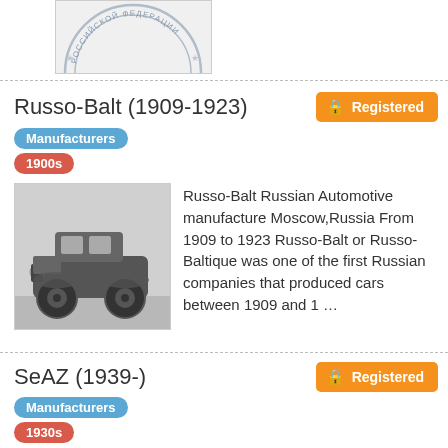[Figure (logo): Partial view of a circular Russian federation official seal/logo, partially cropped at top of page]
Russo-Balt (1909-1923)
Registered
Manufacturers
1900s
[Figure (photo): Black and white photograph of a vintage Russo-Balt automobile from the early 1900s]
Russo-Balt Russian Automotive manufacture Moscow,Russia From 1909 to 1923 Russo-Balt or Russo-Baltique was one of the first Russian companies that produced cars between 1909 and 1 …
SeAZ (1939-)
Registered
Manufacturers
1930s
[Figure (logo): SeAZ company logo: a stylized letter G in an oval/ellipse shape in grayscale]
SeAZ Russian Automotive manufacture Moscow,Russia From 1939 onward SeAZ (Serpukhovsky Avtomobilny Zavod, or Serpukhov Automobile Plant) is a large engineering plant in Serpukhov, …